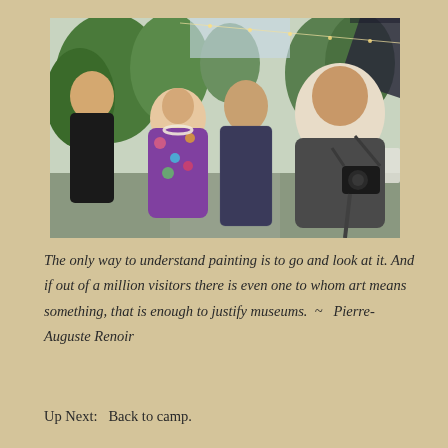[Figure (photo): Three people posing together outdoors at what appears to be a garden event or party. On the left is a shorter woman with short white/silver hair wearing a floral dress and pearl necklace, smiling. In the center is a taller woman in a dark checkered shirt. On the right is a larger man with a beard wearing a light cream shirt and holding a camera with a strap. Background shows green trees, festive lights, and white folding chairs.]
The only way to understand painting is to go and look at it. And if out of a million visitors there is even one to whom art means something, that is enough to justify museums.  ~  Pierre-Auguste Renoir
Up Next:  Back to camp.